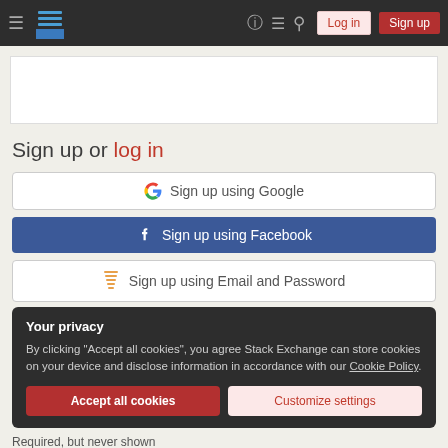Stack Exchange navigation bar with Log in and Sign up buttons
[Figure (screenshot): White content placeholder box]
Sign up or log in
[Figure (other): Sign up using Google button]
[Figure (other): Sign up using Facebook button]
[Figure (other): Sign up using Email and Password button]
Your privacy
By clicking "Accept all cookies", you agree Stack Exchange can store cookies on your device and disclose information in accordance with our Cookie Policy.
[Figure (other): Accept all cookies and Customize settings buttons]
Required, but never shown